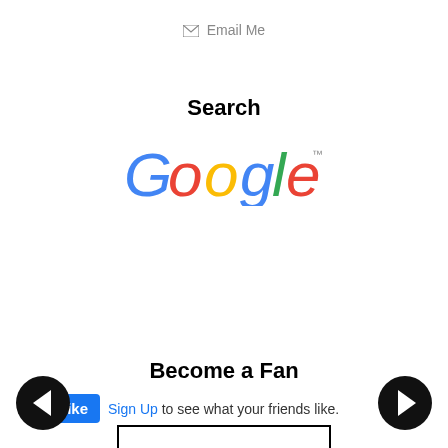✉ Email Me
Search
[Figure (logo): Google logo in classic multicolor lettering with trademark symbol]
[Figure (screenshot): Google search widget with text input box, www radio button (unselected), gumption.typepad.com radio button (selected), and Google Search button]
Become a Fan
[Figure (screenshot): Facebook Like button (blue) with thumbs up icon, followed by 'Sign Up to see what your friends like.']
[Figure (other): Left navigation arrow (black circle with white left arrow)]
[Figure (other): Right navigation arrow (black circle with white right arrow)]